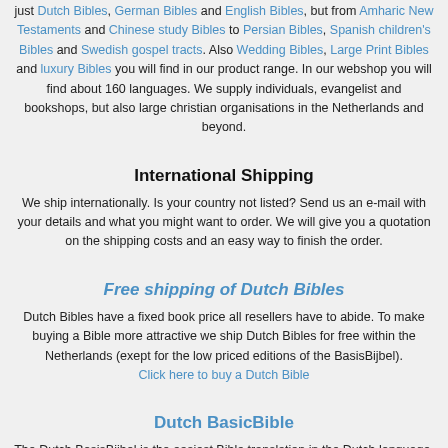just Dutch Bibles, German Bibles and English Bibles, but from Amharic New Testaments and Chinese study Bibles to Persian Bibles, Spanish children's Bibles and Swedish gospel tracts. Also Wedding Bibles, Large Print Bibles and luxury Bibles you will find in our product range. In our webshop you will find about 160 languages. We supply individuals, evangelist and bookshops, but also large christian organisations in the Netherlands and beyond.
International Shipping
We ship internationally. Is your country not listed? Send us an e-mail with your details and what you might want to order. We will give you a quotation on the shipping costs and an easy way to finish the order.
Free shipping of Dutch Bibles
Dutch Bibles have a fixed book price all resellers have to abide. To make buying a Bible more attractive we ship Dutch Bibles for free within the Netherlands (exept for the low priced editions of the BasisBijbel). Click here to buy a Dutch Bible
Dutch BasicBible
The Dutch BasisBijbel is the easiest Bible translation in the Dutch language. Also it is the cheapest Dutch Bible you can buy in any bookshop. It has been publish by ZakBijbelBond-Gospel for Guests in juli